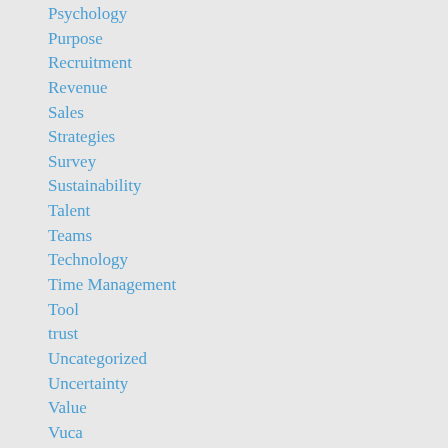Psychology
Purpose
Recruitment
Revenue
Sales
Strategies
Survey
Sustainability
Talent
Teams
Technology
Time Management
Tool
trust
Uncategorized
Uncertainty
Value
Vuca
Work life balance
Work-life Balance